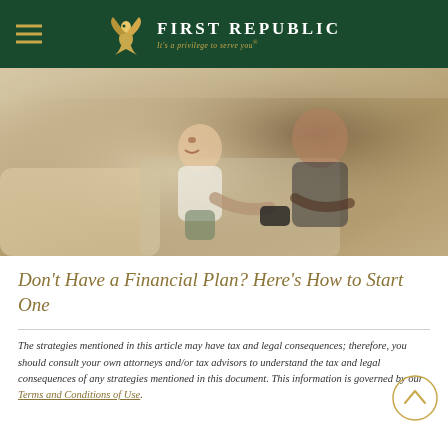First Republic — It's a privilege to serve you®
[Figure (photo): A father and young son sitting on a couch playing video games together, both smiling and laughing]
Don't Have a Financial Plan? Here's How to Start One
The strategies mentioned in this article may have tax and legal consequences; therefore, you should consult your own attorneys and/or tax advisors to understand the tax and legal consequences of any strategies mentioned in this document. This information is governed by our Terms and Conditions of Use.